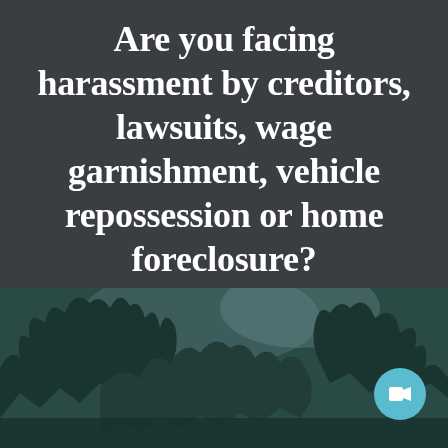Are you facing harassment by creditors, lawsuits, wage garnishment, vehicle repossession or home foreclosure?
[Figure (photo): Outdoor photo of trees with sky visible in background, dark teal/green tones. A teal circular video play button icon appears in the bottom-right corner of the photo.]